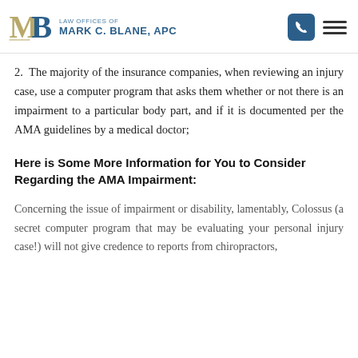Law Offices of Mark C. Blane, APC
2.  The majority of the insurance companies, when reviewing an injury case, use a computer program that asks them whether or not there is an impairment to a particular body part, and if it is documented per the AMA guidelines by a medical doctor;
Here is Some More Information for You to Consider Regarding the AMA Impairment:
Concerning the issue of impairment or disability, lamentably, Colossus (a secret computer program that may be evaluating your personal injury case!) will not give credence to reports from chiropractors,